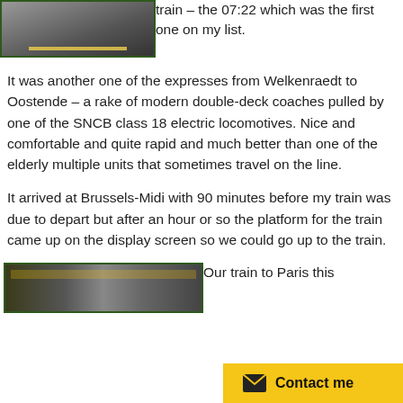[Figure (photo): Photo of a train at a platform, showing yellow stripe detail, framed with dark green border]
train – the 07:22 which was the first one on my list.
It was another one of the expresses from Welkenraedt to Oostende – a rake of modern double-deck coaches pulled by one of the SNCB class 18 electric locomotives. Nice and comfortable and quite rapid and much better than one of the elderly multiple units that sometimes travel on the line.
It arrived at Brussels-Midi with 90 minutes before my train was due to depart but after an hour or so the platform for the train came up on the display screen so we could go up to the train.
[Figure (photo): Photo of a train display screen at Brussels-Midi station, framed with dark green border]
Our train to Paris this